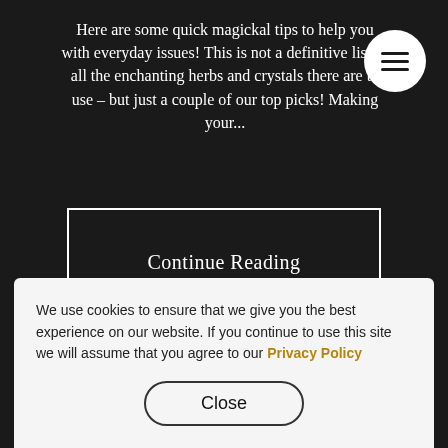Here are some quick magickal tips to help you with everyday issues! This is not a definitive list of all the enchanting herbs and crystals there are to use – but just a couple of our top picks!  Making your...
[Figure (other): Circular menu button (hamburger icon) with three horizontal lines on white background]
Continue Reading
We use cookies to ensure that we give you the best experience on our website. If you continue to use this site we will assume that you agree to our Privacy Policy
Close